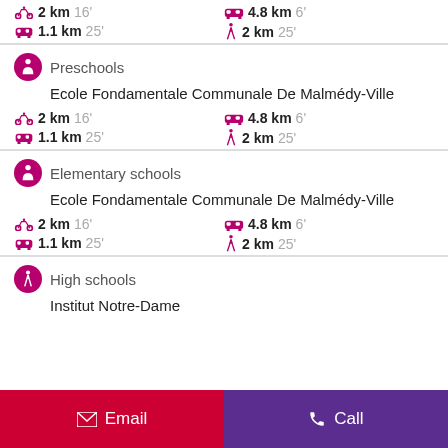🚴 2 km  16'   🚗 4.8 km  6'
🚌 1.1 km  25'   🚶 2 km  25'
Preschools
Ecole Fondamentale Communale De Malmédy-Ville
🚴 2 km  16'   🚗 4.8 km  6'
🚌 1.1 km  25'   🚶 2 km  25'
Elementary schools
Ecole Fondamentale Communale De Malmédy-Ville
🚴 2 km  16'   🚗 4.8 km  6'
🚌 1.1 km  25'   🚶 2 km  25'
High schools
Institut Notre-Dame
Email   Call